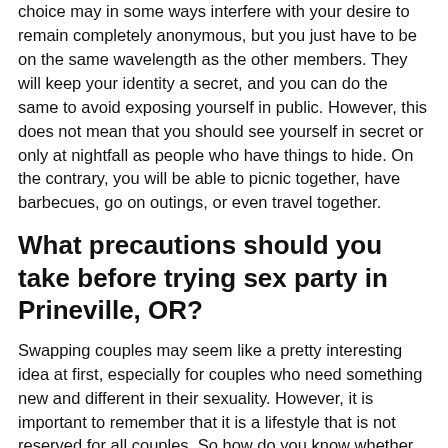choice may in some ways interfere with your desire to remain completely anonymous, but you just have to be on the same wavelength as the other members. They will keep your identity a secret, and you can do the same to avoid exposing yourself in public. However, this does not mean that you should see yourself in secret or only at nightfall as people who have things to hide. On the contrary, you will be able to picnic together, have barbecues, go on outings, or even travel together.
What precautions should you take before trying sex party in Prineville, OR?
Swapping couples may seem like a pretty interesting idea at first, especially for couples who need something new and different in their sexuality. However, it is important to remember that it is a lifestyle that is not reserved for all couples. So how do you know whether or not you will be able to try this experience and still stay together? Well, you must first keep in mind that libertine is a practice for mature people. Maturity in this context is used to refer to your ability to separate your love from sexual practices. In other words, in order to enjoy the benefits of sexual promiscuity